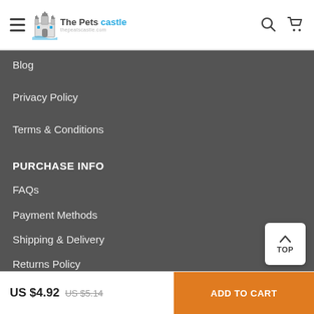The Pets castle thepeatscastle.com
Blog
Privacy Policy
Terms & Conditions
PURCHASE INFO
FAQs
Payment Methods
Shipping & Delivery
Returns Policy
Tracking
US $4.92 US $5.14 ADD TO CART